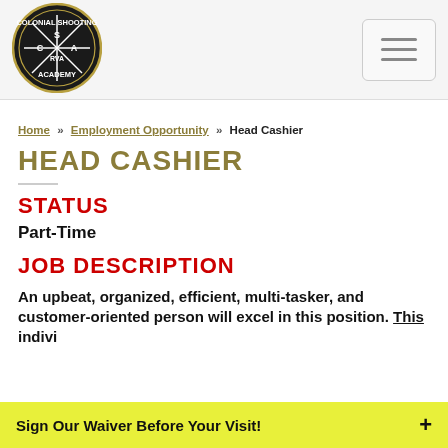[Figure (logo): Colonial Shooting Academy circular logo with CSA RVA text and cross design, black background with gold border]
Colonial Shooting Academy - navigation header with hamburger menu
Home » Employment Opportunity » Head Cashier
HEAD CASHIER
STATUS
Part-Time
JOB DESCRIPTION
An upbeat, organized, efficient, multi-tasker, and customer-oriented person will excel in this position. This indivi...
Sign Our Waiver Before Your Visit! +